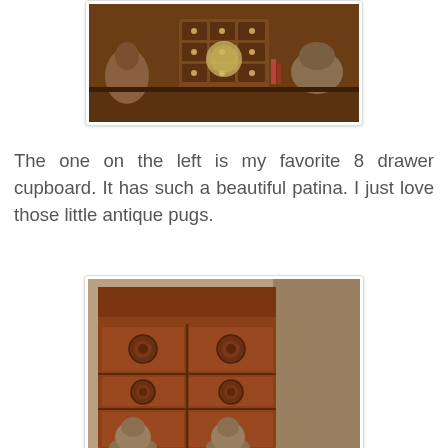[Figure (photo): A wooden multi-drawer cupboard/cabinet with antique pug figurines and various items displayed on top, shown from the front. Warm brown wood tones.]
The one on the left is my favorite 8 drawer cupboard. It has such a beautiful patina. I just love those little antique pugs.
[Figure (photo): A wooden 6-drawer cupboard with an arched top, round knobs on each drawer, and two antique pug figurines visible at the bottom. Rich reddish-brown wood.]